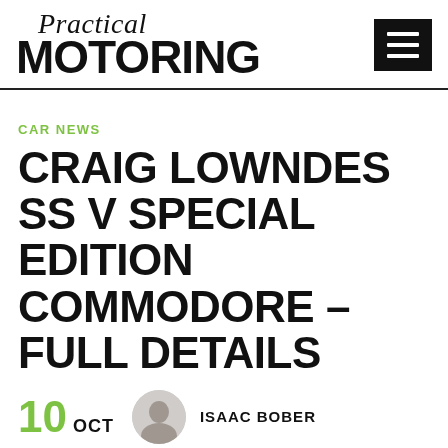Practical MOTORING
CAR NEWS
CRAIG LOWNDES SS V SPECIAL EDITION COMMODORE – FULL DETAILS
10 OCT  ISAAC BOBER